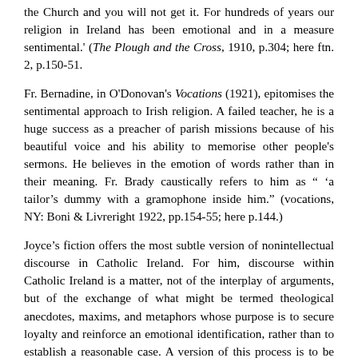the Church and you will not get it. For hundreds of years our religion in Ireland has been emotional and in a measure sentimental.' (The Plough and the Cross, 1910, p.304; here ftn. 2, p.150-51.
Fr. Bernadine, in O'Donovan's Vocations (1921), epitomises the sentimental approach to Irish religion. A failed teacher, he is a huge success as a preacher of parish missions because of his beautiful voice and his ability to memorise other people's sermons. He believes in the emotion of words rather than in their meaning. Fr. Brady caustically refers to him as " 'a tailor's dummy with a gramophone inside him." (vocations, NY: Boni & Livreright 1922, pp.154-55; here p.144.)
Joyce's fiction offers the most subtle version of nonintellectual discourse in Catholic Ireland. For him, discourse within Catholic Ireland is a matter, not of the interplay of arguments, but of the exchange of what might be termed theological anecdotes, maxims, and metaphors whose purpose is to secure loyalty and reinforce an emotional identification, rather than to establish a reasonable case. A version of this process is to be found in "Grace," the penultimate story in Dubliners (1914). In their efforts to persuade Kernan to agree to attend a retreat for businessmen in Gardiner Street Church, Power, Martin Cunningham and M'Coy try to enmesh Kernan in the web of anecdotes, maxims and metaphors on which their own faith is based in the hope that it will reinforce Kernan's commitment. It turns into a form of anecdotal guerrilla warfare. Cunningham begins with a maxim, "The General of the Jesuits stands next to the Pope," and later backs it up with an anecdote, 'Every other order in the Church had to be reformed at some time or other, but the Jesuit Order was never once reformed.